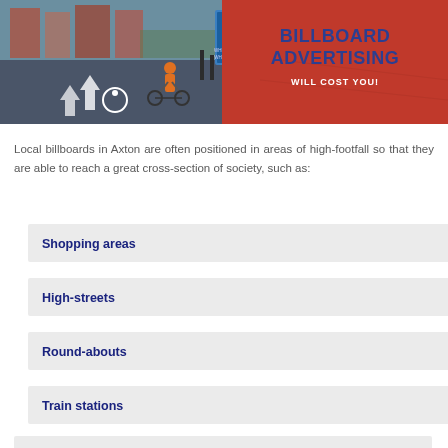[Figure (photo): Left half shows a street scene with a cyclist in an orange vest on a bike lane with road markings. Right half shows a red background with text: 'BOARD ADS - WHERE YOU WANT THEM WHEN YOU NEED THEM' and 'BILLBOARD ADVERTISING WILL COST YOU!']
Local billboards in Axton are often positioned in areas of high-footfall so that they are able to reach a great cross-section of society, such as:
Shopping areas
High-streets
Round-abouts
Train stations